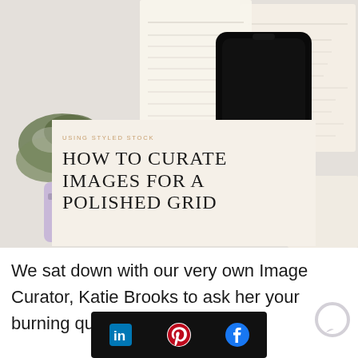[Figure (photo): Styled stock photo showing a white bed/surface with an open planner notebook, a black smartphone, green foliage, a lavender/purple Instax camera and accessories. Overlaid with a cream card containing article title text.]
USING STYLED STOCK
HOW TO CURATE IMAGES FOR A POLISHED GRID
We sat down with our very own Image Curator, Katie Brooks to ask her your burning qu                curate